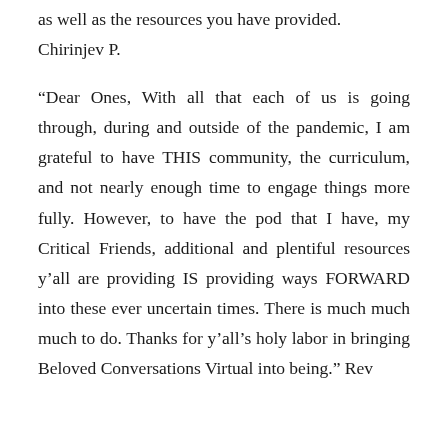as well as the resources you have provided.
Chirinjev P.
“Dear Ones, With all that each of us is going through, during and outside of the pandemic, I am grateful to have THIS community, the curriculum, and not nearly enough time to engage things more fully. However, to have the pod that I have, my Critical Friends, additional and plentiful resources y'all are providing IS providing ways FORWARD into these ever uncertain times. There is much much much to do. Thanks for y'all's holy labor in bringing Beloved Conversations Virtual into being.” Rev